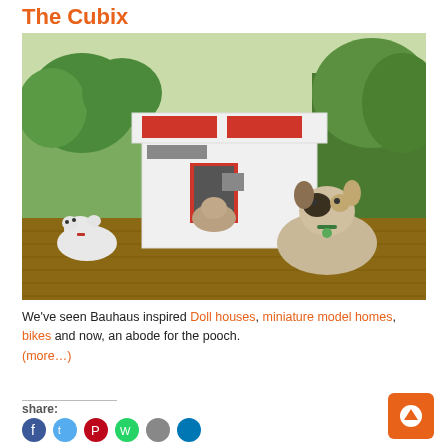The Cubix
[Figure (photo): Photo of three dogs (two small white terriers and one large border collie mix) posed around a modern white and red Bauhaus-inspired dog house on a wooden deck outdoors with green trees in background.]
We've seen Bauhaus inspired Doll houses, miniature model homes, bikes and now, an abode for the pooch. (more…)
share:
[Figure (infographic): Share icons row (Facebook, Twitter, Pinterest, WhatsApp, and others) and an orange square button with white up arrow.]